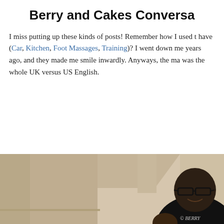Berry and Cakes Conversa
I miss putting up these kinds of posts! Remember how I used to have (Car, Kitchen, Foot Massages, Training)? I went down me years ago, and they made me smile inwardly. Anyways, the ma was the whole UK versus US English.
[Figure (photo): A smiling man wearing glasses and a dark sweater, photographed indoors against a beige architectural panel background. A watermark reading © BERRY is visible in the lower right corner.]